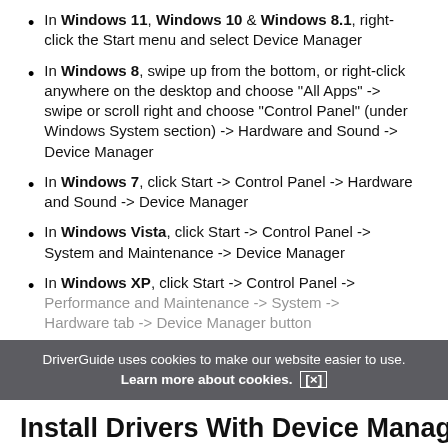In Windows 11, Windows 10 & Windows 8.1, right-click the Start menu and select Device Manager
In Windows 8, swipe up from the bottom, or right-click anywhere on the desktop and choose "All Apps" -> swipe or scroll right and choose "Control Panel" (under Windows System section) -> Hardware and Sound -> Device Manager
In Windows 7, click Start -> Control Panel -> Hardware and Sound -> Device Manager
In Windows Vista, click Start -> Control Panel -> System and Maintenance -> Device Manager
In Windows XP, click Start -> Control Panel -> Performance and Maintenance -> System -> Hardware tab -> Device Manager button
DriverGuide uses cookies to make our website easier to use. Learn more about cookies. [×]
Install Drivers With Device Manager